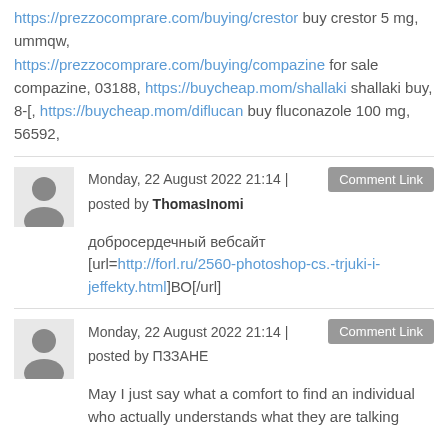https://prezzocomprare.com/buying/crestor buy crestor 5 mg, ummqw, https://prezzocomprare.com/buying/compazine for sale compazine, 03188, https://buycheap.mom/shallaki shallaki buy, 8-[, https://buycheap.mom/diflucan buy fluconazole 100 mg, 56592,
Monday, 22 August 2022 21:14 | posted by ThomasInomi
добросердечный вебсайт [url=http://forl.ru/2560-photoshop-cs.-trjuki-i-jeffekty.html]ВО[/url]
Monday, 22 August 2022 21:14 | posted by ПЗЗаНЕ
May I just say what a comfort to find an individual who actually understands what they are talking